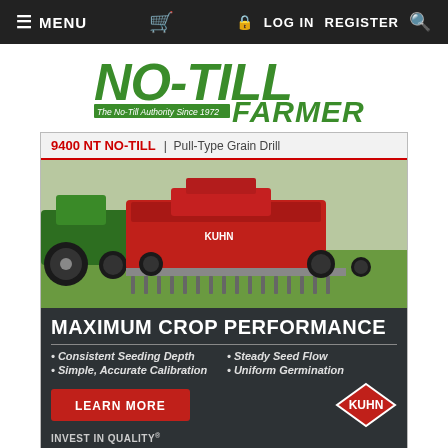MENU  [cart]  LOG IN  REGISTER  [search]
[Figure (logo): NO-TILL FARMER logo — The No-Till Authority Since 1972]
[Figure (advertisement): KUHN 9400 NT NO-TILL Pull-Type Grain Drill advertisement. MAXIMUM CROP PERFORMANCE. Consistent Seeding Depth, Steady Seed Flow, Simple Accurate Calibration, Uniform Germination. LEARN MORE button. INVEST IN QUALITY.]
HOME / STOVER